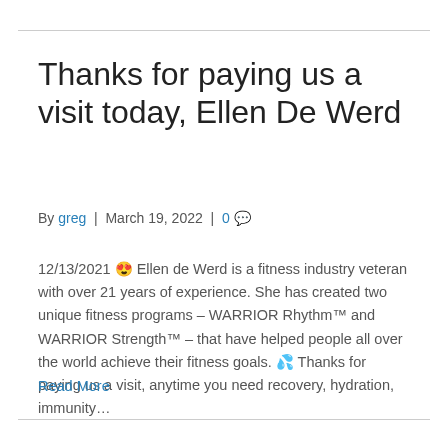Thanks for paying us a visit today, Ellen De Werd
By greg | March 19, 2022 | 0 💬
12/13/2021 😍 Ellen de Werd is a fitness industry veteran with over 21 years of experience. She has created two unique fitness programs – WARRIOR Rhythm™ and WARRIOR Strength™ – that have helped people all over the world achieve their fitness goals. 💦 Thanks for paying us a visit, anytime you need recovery, hydration, immunity…
Read More